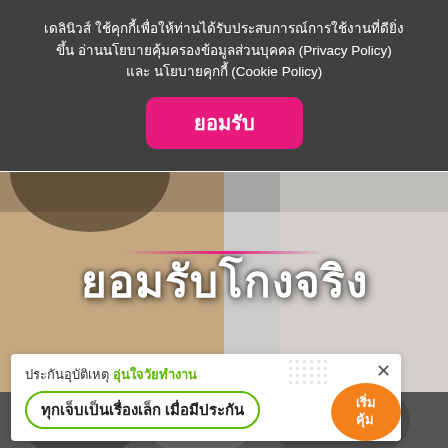เดลินิวส์ ใช้คุกกี้เพื่อให้ท่านได้รับประสบการณ์การใช้งานที่ดียิ่งขึ้น อ่านนโยบายคุ้มครองข้อมูลส่วนบุคคล (Privacy Policy) และ นโยบายคุกกี้ (Cookie Policy)
ยอมรับ
[Figure (photo): News article thumbnail showing two women with text overlay 'ยอมรับโกงจริง' (Admit to cheating) in bold white text with pink underline]
ชาวเน็ตสวดยับ 'นัตตี้' โกงจริง! หายหน้าตั้งแต่ พ.ค. บอกขอมุ่งหาเงินคืนทุกคน
Dailynews
[Figure (photo): Partial background photo of people, with white advertisement popup overlay]
ประกันอุบัติเหตุ อุ่นใจวัยทำงาน
ทุกเจ็บเป็นเรื่องเล็ก เมื่อมีประกัน